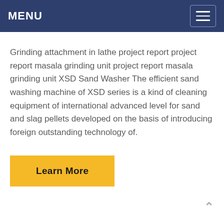MENU
Grinding attachment in lathe project report project report masala grinding unit project report masala grinding unit XSD Sand Washer The efficient sand washing machine of XSD series is a kind of cleaning equipment of international advanced level for sand and slag pellets developed on the basis of introducing foreign outstanding technology of.
Learn More